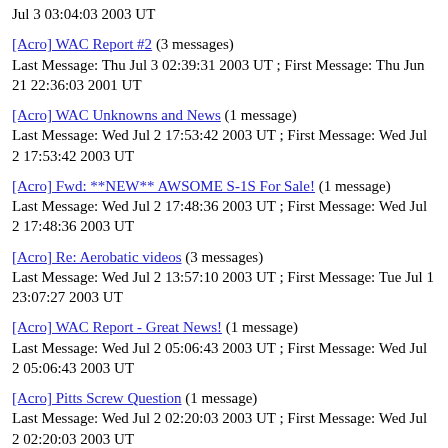Jul 3 03:04:03 2003 UT
[Acro] WAC Report #2 (3 messages) Last Message: Thu Jul 3 02:39:31 2003 UT ; First Message: Thu Jun 21 22:36:03 2001 UT
[Acro] WAC Unknowns and News (1 message) Last Message: Wed Jul 2 17:53:42 2003 UT ; First Message: Wed Jul 2 17:53:42 2003 UT
[Acro] Fwd: **NEW** AWSOME S-1S For Sale! (1 message) Last Message: Wed Jul 2 17:48:36 2003 UT ; First Message: Wed Jul 2 17:48:36 2003 UT
[Acro] Re: Aerobatic videos (3 messages) Last Message: Wed Jul 2 13:57:10 2003 UT ; First Message: Tue Jul 1 23:07:27 2003 UT
[Acro] WAC Report - Great News! (1 message) Last Message: Wed Jul 2 05:06:43 2003 UT ; First Message: Wed Jul 2 05:06:43 2003 UT
[Acro] Pitts Screw Question (1 message) Last Message: Wed Jul 2 02:20:03 2003 UT ; First Message: Wed Jul 2 02:20:03 2003 UT